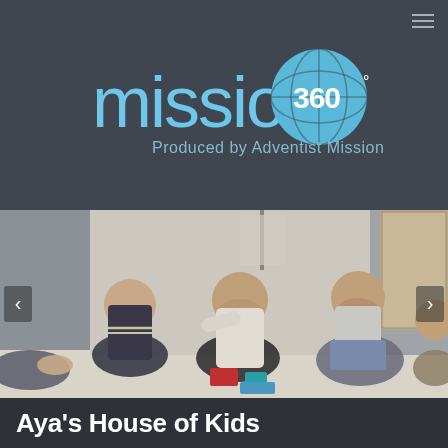[Figure (logo): Mission 360 logo with circular globe graphic and text 'Produced by Adventist Mission' on dark grey background]
[Figure (photo): Group of young Asian women sitting cross-legged on the floor of an apartment, engaged in conversation or activity with items on the floor between them]
Aya's House of Kids